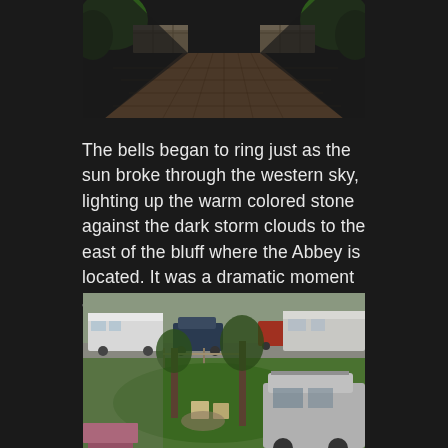[Figure (photo): A brick or stone paved pathway leading away from the viewer, flanked by stone retaining walls with greenery on either side, viewed from above at perspective angle. Dark, moody lighting.]
The bells began to ring just as the sun broke through the western sky, lighting up the warm colored stone against the dark storm clouds to the east of the bluff where the Abbey is located. It was a dramatic moment and definitely worth the wait.
[Figure (photo): An RV campground or park scene showing multiple recreational vehicles parked in the background, trees, green lawn area, folding chairs around a fire pit area, a silver/grey SUV parked on the right side, and a pink/red picnic table in the lower left corner.]